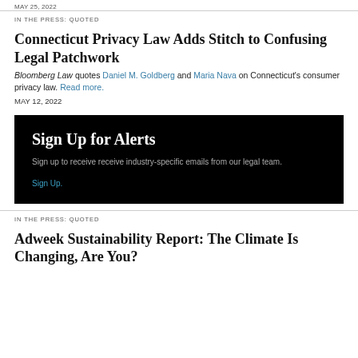MAY 25, 2022
IN THE PRESS: QUOTED
Connecticut Privacy Law Adds Stitch to Confusing Legal Patchwork
Bloomberg Law quotes Daniel M. Goldberg and Maria Nava on Connecticut's consumer privacy law. Read more.
MAY 12, 2022
[Figure (other): Black box promotional banner: Sign Up for Alerts. Sign up to receive receive industry-specific emails from our legal team. Sign Up.]
IN THE PRESS: QUOTED
Adweek Sustainability Report: The Climate Is Changing, Are You?